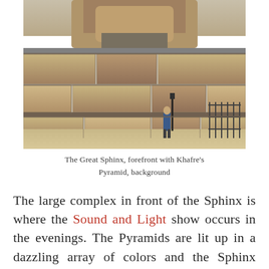[Figure (photo): Photograph of the Great Sphinx at Giza with large stone blocks in the foreground and a person standing near a gate. Khafre's Pyramid is visible in the background.]
The Great Sphinx, forefront with Khafre's Pyramid, background
The large complex in front of the Sphinx is where the Sound and Light show occurs in the evenings. The Pyramids are lit up in a dazzling array of colors and the Sphinx narrates the history of the three Pyramids and their kings.